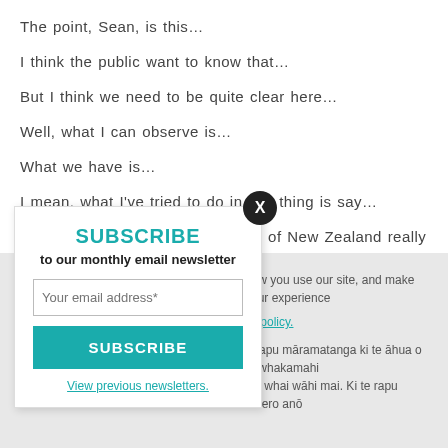The point, Sean, is this…
I think the public want to know that…
But I think we need to be quite clear here…
Well, what I can observe is…
What we have is…
I mean, what I've tried to do in this thing is say…
I strongly suggest that the people of New Zealand really do want…
What I'm saying is that…
SUBSCRIBE to our monthly email newsletter
Your email address*
SUBSCRIBE
View previous newsletters.
how you use our site, and make your experience
cy policy.
e rapu māramatanga ki te āhua o tō whakamahi i tō whai wāhi mai. Ki te rapu kōrero anō